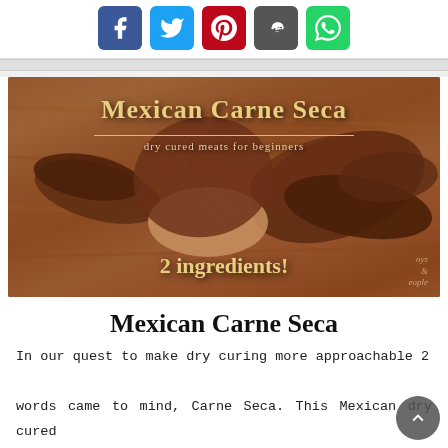[Figure (other): Social media sharing icons: Facebook (blue), Twitter (light blue), Pinterest (red), Reddit (dark gray), WhatsApp (green)]
[Figure (photo): Photo of Mexican Carne Seca - dried cured meat strips on a wooden cutting board, person holding one strip. Text overlay reads 'Mexican Carne Seca', 'dry cured meats for beginners', '2 ingredients!']
Mexican Carne Seca
In our quest to make dry curing more approachable 2 words came to mind, Carne Seca. This Mexican dry cured meat is an absolute must for anyone who wants to start